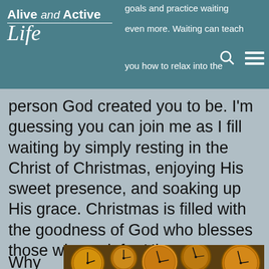Alive and Active Life — goals and practice waiting even more. Waiting can teach you how to relax into the
person God created you to be. I'm guessing you can join me as I fill waiting by simply resting in the Christ of Christmas, enjoying His sweet presence, and soaking up His grace. Christmas is filled with the goodness of God who blesses those who wait for Him.
Why not give
[Figure (photo): A hand holding a globe (earth) against a background of many antique clocks]